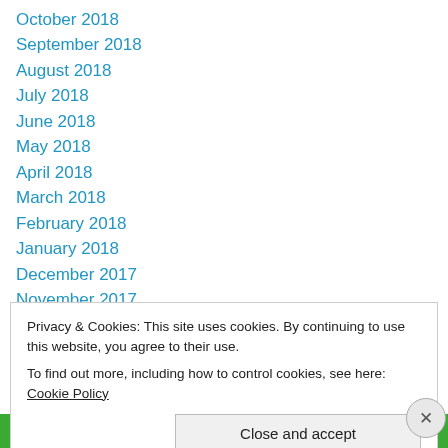October 2018
September 2018
August 2018
July 2018
June 2018
May 2018
April 2018
March 2018
February 2018
January 2018
December 2017
November 2017
October 2017
Privacy & Cookies: This site uses cookies. By continuing to use this website, you agree to their use.
To find out more, including how to control cookies, see here: Cookie Policy
Close and accept